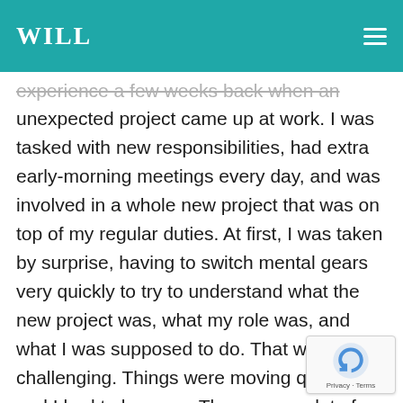WILL
experience a few weeks back when an unexpected project came up at work. I was tasked with new responsibilities, had extra early-morning meetings every day, and was involved in a whole new project that was on top of my regular duties. At first, I was taken by surprise, having to switch mental gears very quickly to try to understand what the new project was, what my role was, and what I was supposed to do. That was challenging. Things were moving quickly and I had to keep up. There were a lot of smart people working on this project and it was a privilege to be asked to join the team, but it was